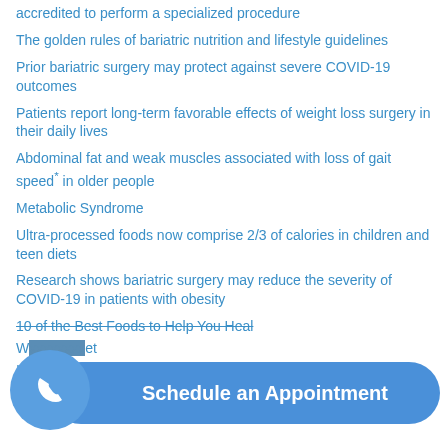accredited to perform a specialized procedure
The golden rules of bariatric nutrition and lifestyle guidelines
Prior bariatric surgery may protect against severe COVID-19 outcomes
Patients report long-term favorable effects of weight loss surgery in their daily lives
Abdominal fat and weak muscles associated with loss of gait speed* in older people
Metabolic Syndrome
Ultra-processed foods now comprise 2/3 of calories in children and teen diets
Research shows bariatric surgery may reduce the severity of COVID-19 in patients with obesity
10 of the Best Foods to Help You Heal
W...et
INFOGRAPHIC: Durban Bar...